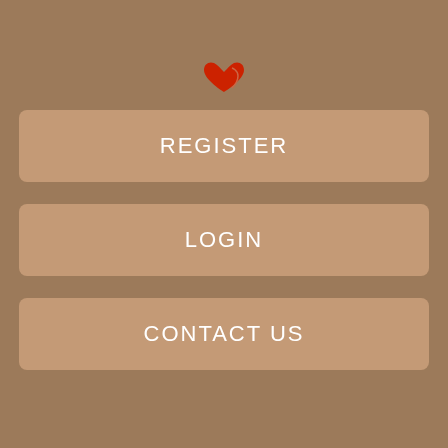[Figure (logo): Red heart/love icon logo at top center of the tan/brown navigation screen]
REGISTER
LOGIN
CONTACT US
A mass shooting threat has been posted on the dark web warning people to stay away from screenings of the Joker film at one of Sydney's most popular cinemas. The threat was posted to 4Chan warning people to stay away from the Ritz Cinema in Randwick, in Sydney's east, during screenings of the Warner Bros.
The thread was then deleted, but not Randdwick users took a screenshot of the threat and posted it to Reddit. The threat was